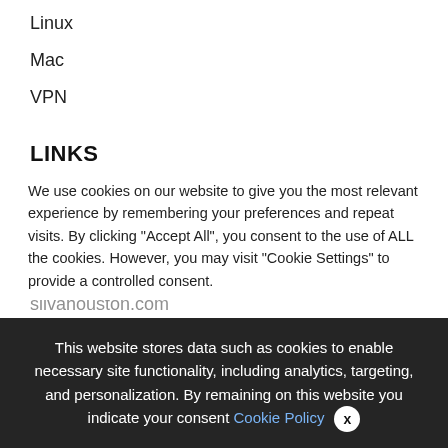Linux
Mac
VPN
LINKS
jualdomains.com
silvajose.com
silvahouston.com
We use cookies on our website to give you the most relevant experience by remembering your preferences and repeat visits. By clicking "Accept All", you consent to the use of ALL the cookies. However, you may visit "Cookie Settings" to provide a controlled consent.
This website stores data such as cookies to enable necessary site functionality, including analytics, targeting, and personalization. By remaining on this website you indicate your consent Cookie Policy